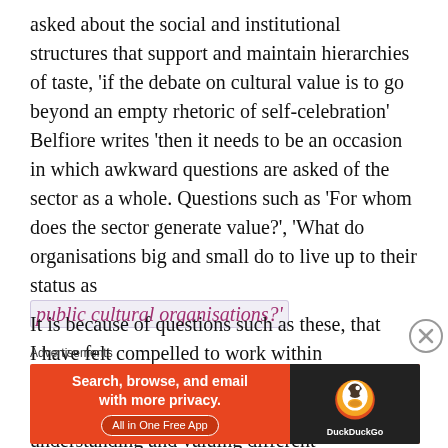asked about the social and institutional structures that support and maintain hierarchies of taste, ‘if the debate on cultural value is to go beyond an empty rhetoric of self-celebration’ Belfiore writes ‘then it needs to be an occasion in which awkward questions are asked of the sector as a whole. Questions such as ‘For whom does the sector generate value?’, ‘What do organisations big and small do to live up to their status as public cultural organisations?’
It is because of questions such as these, that I have felt compelled to work within Outreach initiatives and to try and contribute to institutional change. By understanding and valuing different orientations to cultural value I was able to mobilise pop-cultural sensibilities to begin
Advertisements
[Figure (other): DuckDuckGo advertisement banner: orange background with text 'Search, browse, and email with more privacy. All in One Free App' and DuckDuckGo duck logo on dark background.]